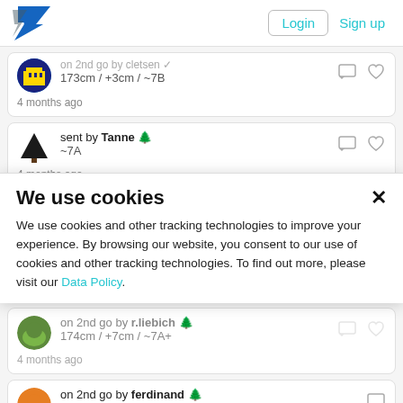Login | Sign up
on 2nd go by cletsen / 173cm / +3cm / ~7B / 4 months ago
sent by Tanne 🌲 / ~7A / 4 months ago
flashed by tloh ⚡ / 185cm / 0cm / ~7B
We use cookies
We use cookies and other tracking technologies to improve your experience. By browsing our website, you consent to our use of cookies and other tracking technologies. To find out more, please visit our Data Policy.
on 2nd go by r.liebich 🌲 / 174cm / +7cm / ~7A+ / 4 months ago
on 2nd go by ferdinand 🌲